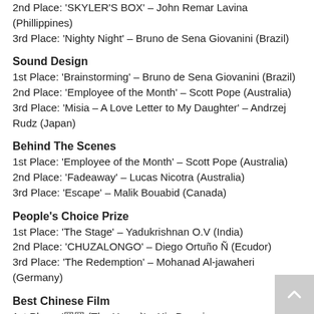2nd Place: 'SKYLER'S BOX' – John Remar Lavina (Phillippines)
3rd Place: 'Nighty Night' – Bruno de Sena Giovanini (Brazil)
Sound Design
1st Place: 'Brainstorming' – Bruno de Sena Giovanini (Brazil)
2nd Place: 'Employee of the Month' – Scott Pope (Australia)
3rd Place: 'Misia – A Love Letter to My Daughter' – Andrzej Rudz (Japan)
Behind The Scenes
1st Place: 'Employee of the Month' – Scott Pope (Australia)
2nd Place: 'Fadeaway' – Lucas Nicotra (Australia)
3rd Place: 'Escape' – Malik Bouabid (Canada)
People's Choice Prize
1st Place: 'The Stage' – Yadukrishnan O.V (India)
2nd Place: 'CHUZALONGO' – Diego Ortuño Ñ (Ecudor)
3rd Place: 'The Redemption' – Mohanad Al-jawaheri (Germany)
Best Chinese Film
1st Place: '囧囧 (The Home)' – Xie Dawei
2nd Place: '囧囧囧囧囧囧囧囧 (Five Ways of Home Expression)'